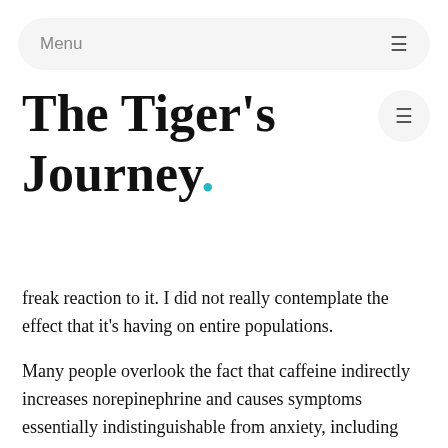Menu
The Tiger's Journey.
freak reaction to it. I did not really contemplate the effect that it's having on entire populations.
Many people overlook the fact that caffeine indirectly increases norepinephrine and causes symptoms essentially indistinguishable from anxiety, including nervousness, irritability, trembling, palpitations, flushing, and heartbeat irregularities, writes, Graham Davey in Psychology Today.
Graham also mentions the writer (and current editor of The Atlantic Magazine)  Scott Stossel and his book, the Age of